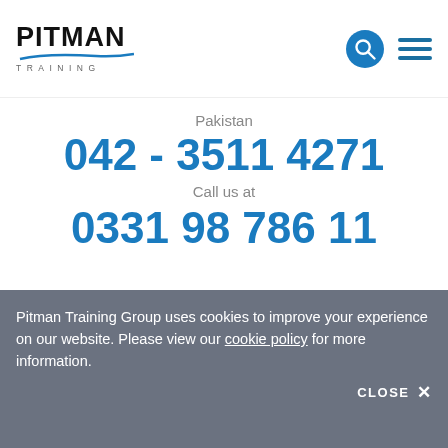[Figure (logo): Pitman Training logo with blue underline and TRAINING text in spaced letters]
Pakistan
042 - 3511 4271
Call us at
0331 98 786 11
aspects of leadership including different leadership styles.  It will also help you discover what kind of leader you might be.  You will also look at emotional intelligence is...
Learn More
Enquire now
Pitman Training Group uses cookies to improve your experience on our website. Please view our cookie policy for more information.
CLOSE ✕